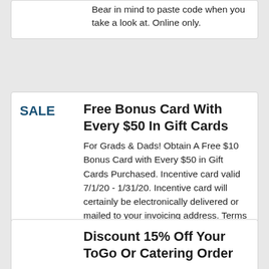Bear in mind to paste code when you take a look at. Online only.
Free Bonus Card With Every $50 In Gift Cards
For Grads & Dads! Obtain A Free $10 Bonus Card with Every $50 in Gift Cards Purchased. Incentive card valid 7/1/20 - 1/31/20. Incentive card will certainly be electronically delivered or mailed to your invoicing address. Terms use.
Discount 15% Off Your ToGo Or Catering Order
Get 15% off your ToGo or Catering order, approximately $52.50 maximum value